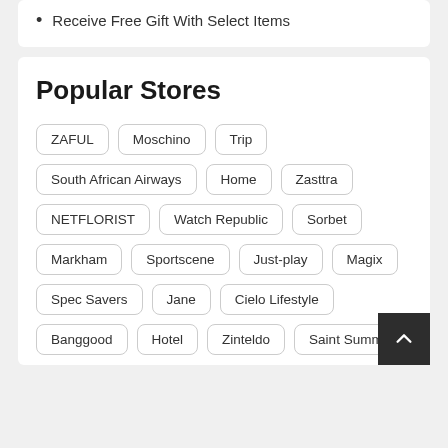Receive Free Gift With Select Items
Popular Stores
ZAFUL, Moschino, Trip, South African Airways, Home, Zasttra, NETFLORIST, Watch Republic, Sorbet, Markham, Sportscene, Just-play, Magix, Spec Savers, Jane, Cielo Lifestyle, Banggood, Hotel, Zinteldo, Saint Summer